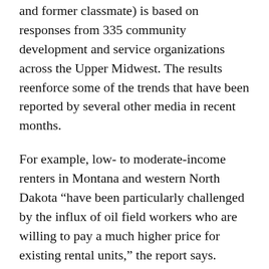and former classmate) is based on responses from 335 community development and service organizations across the Upper Midwest. The results reenforce some of the trends that have been reported by several other media in recent months.
For example, low- to moderate-income renters in Montana and western North Dakota “have been particularly challenged by the influx of oil field workers who are willing to pay a much higher price for existing rental units,” the report says.
Seventy-two percent of the North Dakota organizations that responded to the survey said the ability to find affordable rental housing has